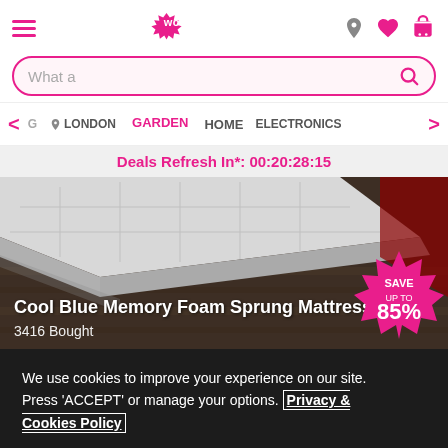Wowcher header with hamburger menu, logo, location, heart, and cart icons
What a
G  LONDON   GARDEN   HOME   ELECTRONICS
Deals Refresh In*: 00:20:28:15
[Figure (photo): Cool Blue Memory Foam Sprung Mattress product photo showing white mattress on dark wood floor]
Cool Blue Memory Foam Sprung Mattress
3416 Bought
SAVE UP TO 85%
We use cookies to improve your experience on our site. Press 'ACCEPT' or manage your options. Privacy & Cookies Policy
Options
ACCEPT